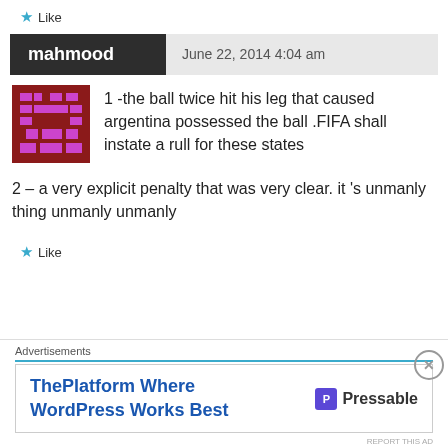Like
mahmood  June 22, 2014 4:04 am
1 -the ball twice hit his leg that caused argentina possessed the ball .FIFA shall instate a rull for these states
2 – a very explicit penalty that was very clear. it 's unmanly thing unmanly unmanly
Like
Advertisements
ThePlatform Where WordPress Works Best  P Pressable